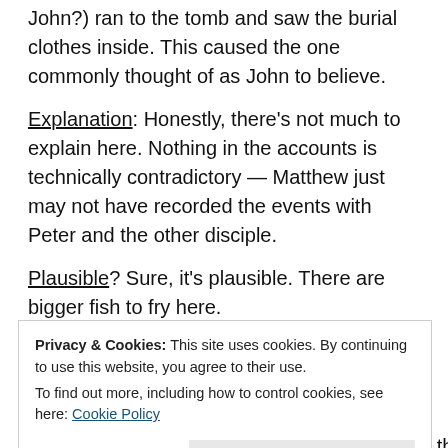John?) ran to the tomb and saw the burial clothes inside. This caused the one commonly thought of as John to believe.
Explanation: Honestly, there's not much to explain here. Nothing in the accounts is technically contradictory — Matthew just may not have recorded the events with Peter and the other disciple.
Plausible? Sure, it's plausible. There are bigger fish to fry here.
The Problem with John...
Privacy & Cookies: This site uses cookies. By continuing to use this website, you agree to their use.
To find out more, including how to control cookies, see here: Cookie Policy
Close and accept
saw this happen), and she ran away. She told the